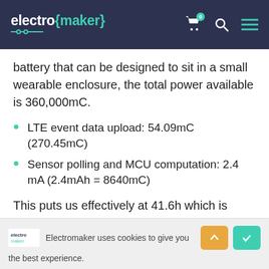electro {maker}
battery that can be designed to sit in a small wearable enclosure, the total power available is 360,000mC.
LTE event data upload: 54.09mC (270.45mC)
Sensor polling and MCU computation: 2.4 mA (2.4mAh = 8640mC)
This puts us effectively at 41.6h which is close to about a day's worth of power.
Electromaker uses cookies to give you the best experience.